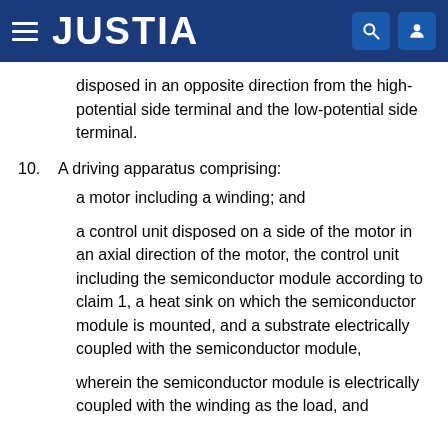JUSTIA
disposed in an opposite direction from the high-potential side terminal and the low-potential side terminal.
10. A driving apparatus comprising:
a motor including a winding; and
a control unit disposed on a side of the motor in an axial direction of the motor, the control unit including the semiconductor module according to claim 1, a heat sink on which the semiconductor module is mounted, and a substrate electrically coupled with the semiconductor module,
wherein the semiconductor module is electrically coupled with the winding as the load, and